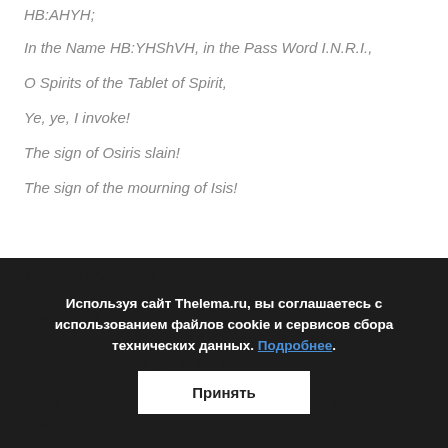HB:AHYH;
In the Name HB:YHShVH, in the Pass Word I.N.R.I.,
O Spirits of the Tablet of Spirit,
Ye, ye, I invoke!
The sign of Osiris slain!
The sign of the mourning of Isis!
The sign of Apophis and Typhon!
The sign of Osiris Risen!
L. V. X., Lux: The Light of the Cross.
In the name of I A O and V H V D O Th, I declare that the Spirits of Spirit have been duly invoked.
[Figure (screenshot): Cookie consent overlay in Russian: 'Используя сайт Thelema.ru, вы соглашаетесь с использованием файлов cookie и сервисов сбора технических данных. Подробнее.' with 'Принять' (Accept) button.]